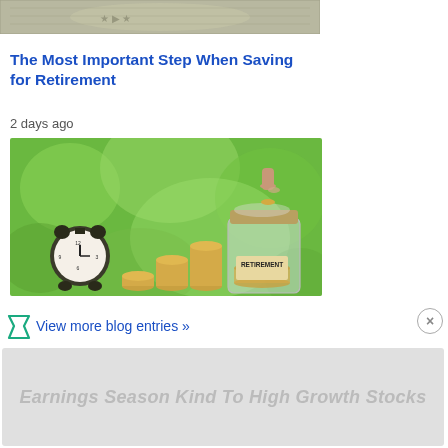[Figure (photo): Partial view of money/dollar bills from top]
The Most Important Step When Saving for Retirement
2 days ago
[Figure (photo): An alarm clock next to stacks of coins and a glass jar labeled RETIREMENT with a hand dropping a coin into it, on a green bokeh background]
View more blog entries »
[Figure (other): Advertisement banner: Earnings Season Kind To High Growth Stocks]